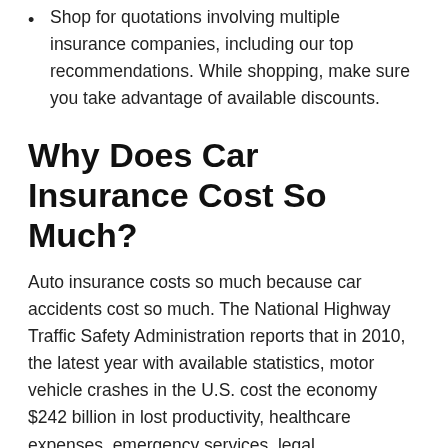Shop for quotations involving multiple insurance companies, including our top recommendations. While shopping, make sure you take advantage of available discounts.
Why Does Car Insurance Cost So Much?
Auto insurance costs so much because car accidents cost so much. The National Highway Traffic Safety Administration reports that in 2010, the latest year with available statistics, motor vehicle crashes in the U.S. cost the economy $242 billion in lost productivity, healthcare expenses, emergency services, legal